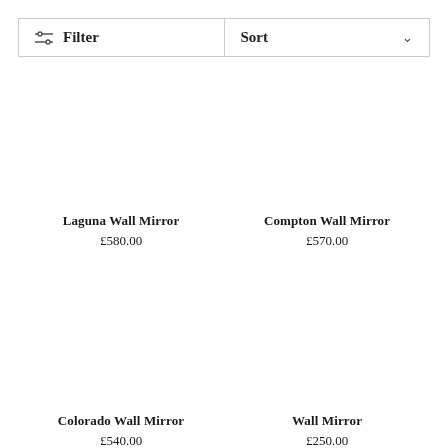Filter
Sort
Laguna Wall Mirror
£580.00
Compton Wall Mirror
£570.00
Colorado Wall Mirror
£540.00
Wall Mirror
£250.00